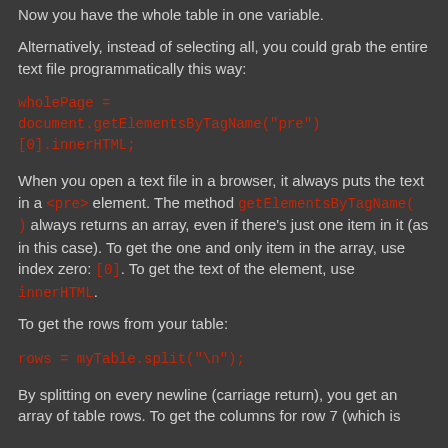Now you have the whole table in one variable.
Alternatively, instead of selecting all, you could grab the entire text file programmatically this way:
When you open a text file in a browser, it always puts the text in a <pre> element. The method getElementsByTagName( ) always returns an array, even if there's just one item in it (as in this case). To get the one and only item in the array, use index zero: [0]. To get the text of the element, use innerHTML.
To get the rows from your table:
By splitting on every newline (carriage return), you get an array of table rows. To get the columns for row 7 (which is